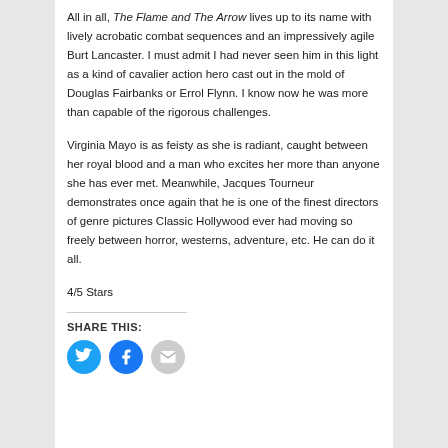All in all, The Flame and The Arrow lives up to its name with lively acrobatic combat sequences and an impressively agile Burt Lancaster. I must admit I had never seen him in this light as a kind of cavalier action hero cast out in the mold of Douglas Fairbanks or Errol Flynn. I know now he was more than capable of the rigorous challenges.
Virginia Mayo is as feisty as she is radiant, caught between her royal blood and a man who excites her more than anyone she has ever met. Meanwhile, Jacques Tourneur demonstrates once again that he is one of the finest directors of genre pictures Classic Hollywood ever had moving so freely between horror, westerns, adventure, etc. He can do it all.
4/5 Stars
SHARE THIS: